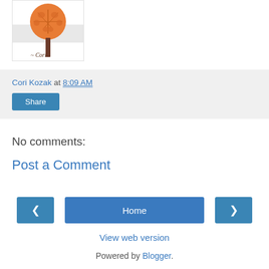[Figure (illustration): A stylized autumn tree illustration with an orange circular canopy and brown trunk, with handwritten text '~ Cori' below the canopy. Presented inside a white card with a light gray background strip.]
Cori Kozak at 8:09 AM
Share
No comments:
Post a Comment
‹
Home
›
View web version
Powered by Blogger.